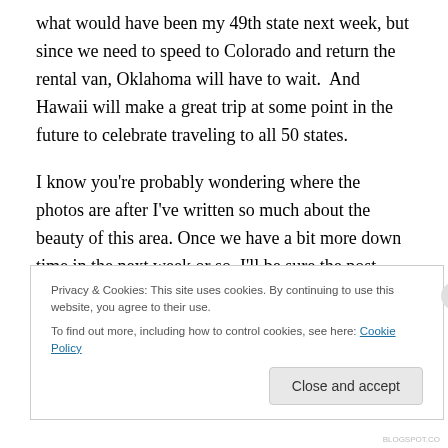what would have been my 49th state next week, but since we need to speed to Colorado and return the rental van, Oklahoma will have to wait.  And Hawaii will make a great trip at some point in the future to celebrate traveling to all 50 states.
I know you're probably wondering where the photos are after I've written so much about the beauty of this area. Once we have a bit more down time in the next week or so, I'll be sure the post some photos from our time here.
Privacy & Cookies: This site uses cookies. By continuing to use this website, you agree to their use.
To find out more, including how to control cookies, see here: Cookie Policy